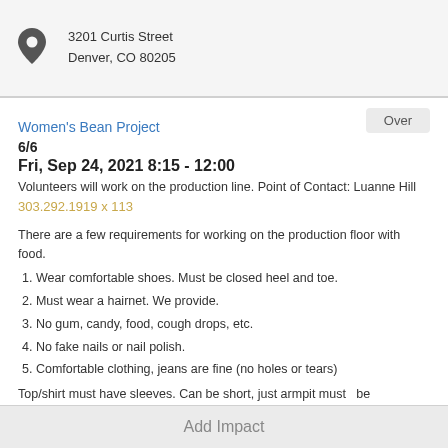3201 Curtis Street
Denver, CO 80205
Women's Bean Project
Over
6/6
Fri, Sep 24, 2021 8:15 - 12:00
Volunteers will work on the production line.  Point of Contact: Luanne Hill 303.292.1919 x 113
There are a few requirements for working on the production floor with food.
1.  Wear comfortable shoes.  Must be closed heel and toe.
2.  Must wear a hairnet.  We provide.
3.  No gum, candy, food, cough drops, etc.
4.  No fake nails or nail polish.
5.  Comfortable clothing, jeans are fine (no holes or tears)
Top/shirt must have sleeves.  Can be short, just armpit must    be
Add Impact